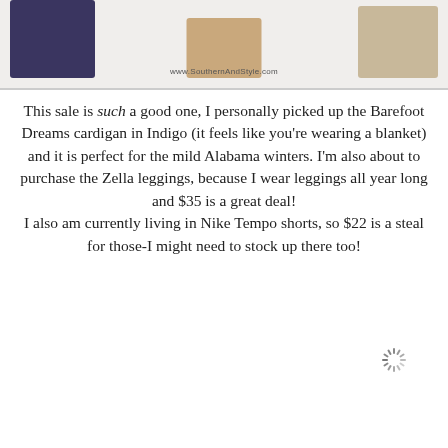[Figure (photo): A collage-style image strip showing fashion/clothing items from www.SouthernAndStyle.com — left figure shows dark navy jeans, center shows brown heeled sandals, right shows beige/nude heeled shoes. Watermark text 'www.SouthernAndStyle.com' visible.]
This sale is such a good one, I personally picked up the Barefoot Dreams cardigan in Indigo (it feels like you're wearing a blanket) and it is perfect for the mild Alabama winters. I'm also about to purchase the Zella leggings, because I wear leggings all year long and $35 is a great deal!
I also am currently living in Nike Tempo shorts, so $22 is a steal for those-I might need to stock up there too!